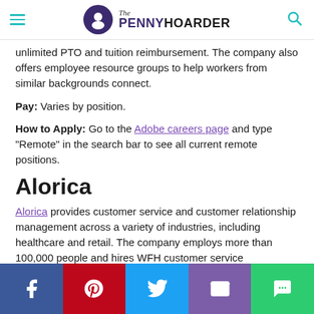The Penny Hoarder
unlimited PTO and tuition reimbursement. The company also offers employee resource groups to help workers from similar backgrounds connect.
Pay: Varies by position.
How to Apply: Go to the Adobe careers page and type “Remote” in the search bar to see all current remote positions.
Alorica
Alorica provides customer service and customer relationship management across a variety of industries, including healthcare and retail. The company employs more than 100,000 people and hires WFH customer service